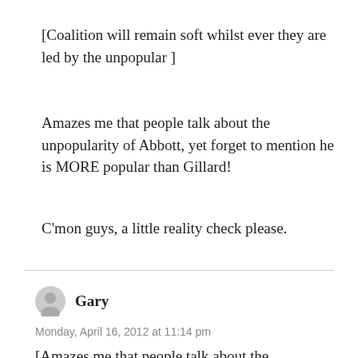[Coalition will remain soft whilst ever they are led by the unpopular ]
Amazes me that people talk about the unpopularity of Abbott, yet forget to mention he is MORE popular than Gillard!
C'mon guys, a little reality check please.
Gary
Monday, April 16, 2012 at 11:14 pm
[Amazes me that people talk about the unpopularity of Abbott, yet forget to mention he is MORE popular than Gillard!]